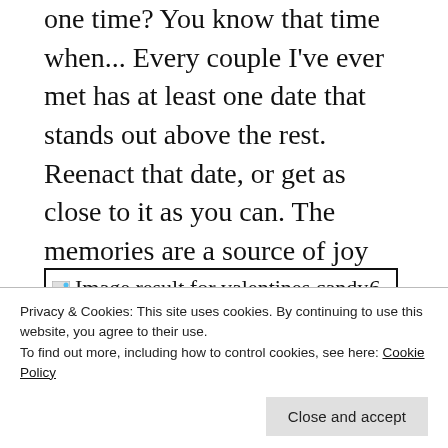one time? You know that time when... Every couple I've ever met has at least one date that stands out above the rest. Reenact that date, or get as close to it as you can. The memories are a source of joy and doubling down on joy is always a good thing.
[Figure (other): Broken image placeholder with alt text 'Image result for valentines candy' inside a black-bordered box, followed by '6.']
Celebrate Faustinus' Day instead of
Privacy & Cookies: This site uses cookies. By continuing to use this website, you agree to their use.
To find out more, including how to control cookies, see here: Cookie Policy
Close and accept